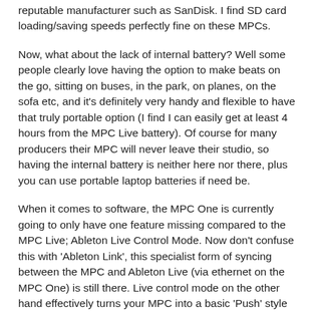reputable manufacturer such as SanDisk. I find SD card loading/saving speeds perfectly fine on these MPCs.
Now, what about the lack of internal battery? Well some people clearly love having the option to make beats on the go, sitting on buses, in the park, on planes, on the sofa etc, and it's definitely very handy and flexible to have that truly portable option (I find I can easily get at least 4 hours from the MPC Live battery). Of course for many producers their MPC will never leave their studio, so having the internal battery is neither here nor there, plus you can use portable laptop batteries if need be.
When it comes to software, the MPC One is currently going to only have one feature missing compared to the MPC Live; Ableton Live Control Mode. Now don't confuse this with 'Ableton Link', this specialist form of syncing between the MPC and Ableton Live (via ethernet on the MPC One) is still there. Live control mode on the other hand effectively turns your MPC into a basic 'Push' style controller for Ableton Live – this would currently appear to be an MPC Live/X exclusive feature.